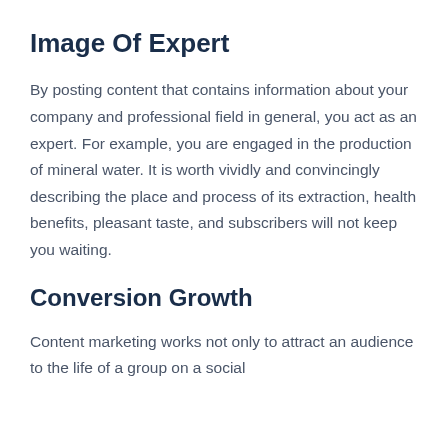Image Of Expert
By posting content that contains information about your company and professional field in general, you act as an expert. For example, you are engaged in the production of mineral water. It is worth vividly and convincingly describing the place and process of its extraction, health benefits, pleasant taste, and subscribers will not keep you waiting.
Conversion Growth
Content marketing works not only to attract an audience to the life of a group on a social